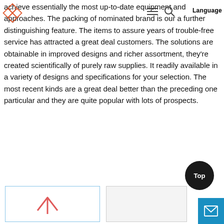[navigation icons: diamond logo, hamburger menu, search, Language]
achieve essentially the most up-to-date equipment and approaches. The packing of nominated brand is our a further distinguishing feature. The items to assure years of trouble-free service has attracted a great deal customers. The solutions are obtainable in improved designs and richer assortment, they're created scientifically of purely raw supplies. It readily available in a variety of designs and specifications for your selection. The most recent kinds are a great deal better than the preceding one particular and they are quite popular with lots of prospects.
[Figure (logo): Product card with logo on the left (pink/red arrow logo)]
[Figure (photo): Product card on the right, partially visible]